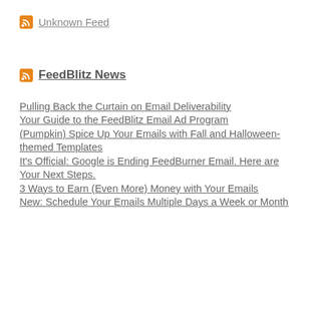Unknown Feed
FeedBlitz News
Pulling Back the Curtain on Email Deliverability
Your Guide to the FeedBlitz Email Ad Program
(Pumpkin) Spice Up Your Emails with Fall and Halloween-themed Templates
It's Official: Google is Ending FeedBurner Email. Here are Your Next Steps.
3 Ways to Earn (Even More) Money with Your Emails
New: Schedule Your Emails Multiple Days a Week or Month